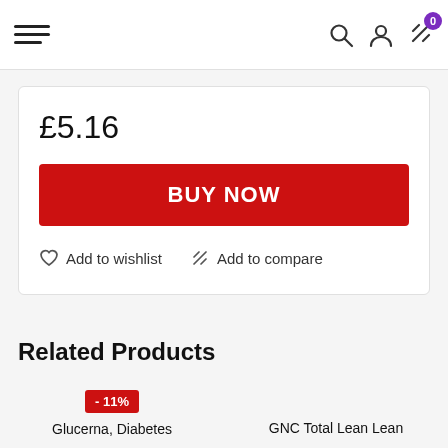Navigation bar with hamburger menu, search, account, and compare icons; cart badge: 0
£5.16
BUY NOW
Add to wishlist
Add to compare
Related Products
- 11%
Glucerna, Diabetes
GNC Total Lean Lean